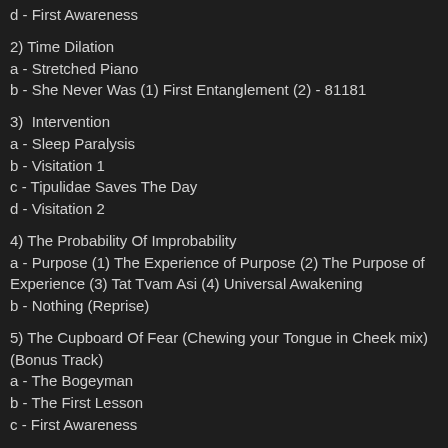d - First Awareness
2) Time Dilation
a - Stretched Piano
b - She Never Was (1) First Entanglement (2) - 81181
3)  Intervention
a - Sleep Paralysis
b - Visitation 1
c - Tipulidae Saves The Day
d - Visitation 2
4) The Probability Of Improbability
a - Purpose (1) The Experience of Purpose (2) The Purpose of Experience (3) Tat Tvam Asi (4) Universal Awakening
b - Nothing (Reprise)
5) The Cupboard Of Fear (Chewing your Tongue in Cheek mix) (Bonus Track)
a - The Bogeyman
b - The First Lesson
c - First Awareness